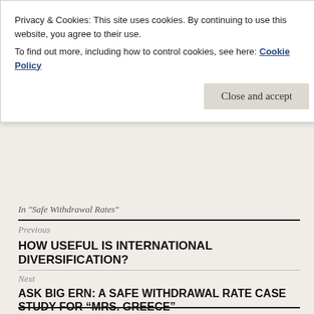Privacy & Cookies: This site uses cookies. By continuing to use this website, you agree to their use.
To find out more, including how to control cookies, see here: Cookie Policy
Close and accept
In "Safe Withdrawal Rates"
Previous
HOW USEFUL IS INTERNATIONAL DIVERSIFICATION?
Next
ASK BIG ERN: A SAFE WITHDRAWAL RATE CASE STUDY FOR “MRS. GREECE”
168 THOUGHTS ON “THE ULTIMATE GUIDE TO SAFE WITHDRAWAL RATES – PART 18: FLEXIBILITY AND THE MECHANICS OF CAPE-BASED RULES”